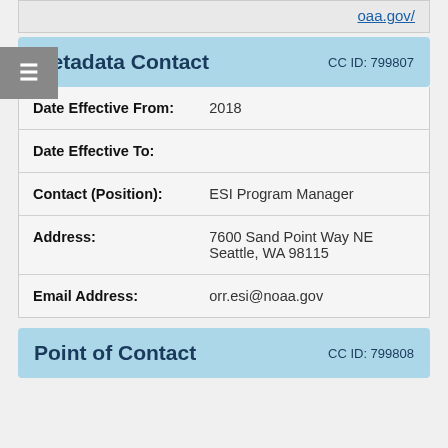oaa.gov/
Metadata Contact    CC ID: 799807
| Date Effective From: | 2018 |
| Date Effective To: |  |
| Contact (Position): | ESI Program Manager |
| Address: | 7600 Sand Point Way NE Seattle, WA 98115 |
| Email Address: | orr.esi@noaa.gov |
Point of Contact    CC ID: 799808